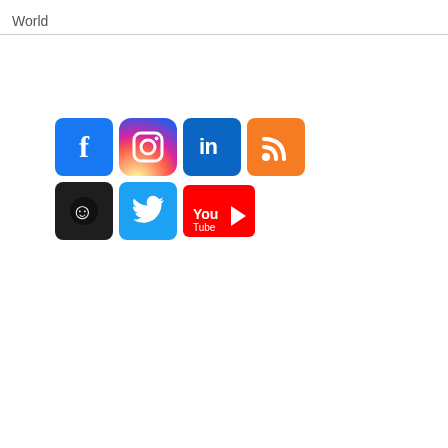World
[Figure (illustration): Social media icons: Facebook, Instagram, LinkedIn, RSS feed, Smugmug, Twitter, YouTube]
| date | event | C | teams | place | cost |
| --- | --- | --- | --- | --- | --- |
| 2019.08 | JP | 0.96 | 87 | 4. | 53. |
| 2018.09 | JP | 0.95 | 86 | 4. | 43. |
| 2017.09 | JP | 0.92 | 83 | 7. | 54. |
| 2017.08 | DE | 0.97 | 64 | 12. | 49. |
| 2016.09 | JP | 0.94 | 83 | 18. | 31. |
| 2015.09 | JP | 0.95 | 75 | 13. | 29. |
| 2014.09 | JP | 0.93 | 75 | 22. | 24. |
| 2013.09 | JP | 0.93 | 69 | 31. | 44. |
| 2012.09 | JP | 0.94 | 68 | 30. | 27. |
| 2011.09 | JP | 0.95 | 65 | 27. | 43. |
| 2010.09 | JP | 0.93 | 63 | 53. | 46. |
| 2009.09 | JP | 0.92 | 58 | 47. | 50. |
x 12